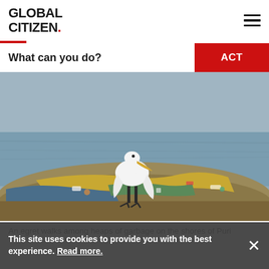GLOBAL CITIZEN.
What can you do?
[Figure (photo): A white egret standing on a large heap of garbage and debris on a shore, with grey water visible in the background.]
An egret walks among heaps of garbage on the shores of Puri Beach, India, in 2022. India has over 1.7 million waste...
This site uses cookies to provide you with the best experience. Read more.